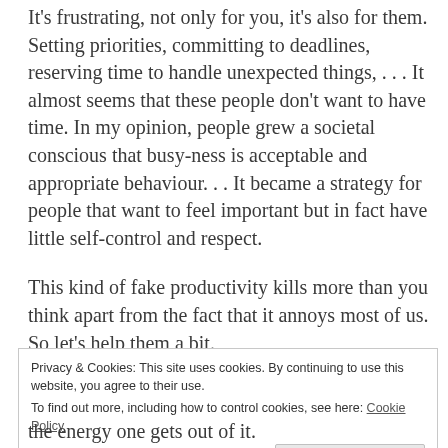It's frustrating, not only for you, it's also for them. Setting priorities, committing to deadlines, reserving time to handle unexpected things, . . . It almost seems that these people don't want to have time. In my opinion, people grew a societal conscious that busy-ness is acceptable and appropriate behaviour. . . It became a strategy for people that want to feel important but in fact have little self-control and respect.
This kind of fake productivity kills more than you think apart from the fact that it annoys most of us. So let's help them a bit.
Privacy & Cookies: This site uses cookies. By continuing to use this website, you agree to their use. To find out more, including how to control cookies, see here: Cookie Policy
the energy one gets out of it.